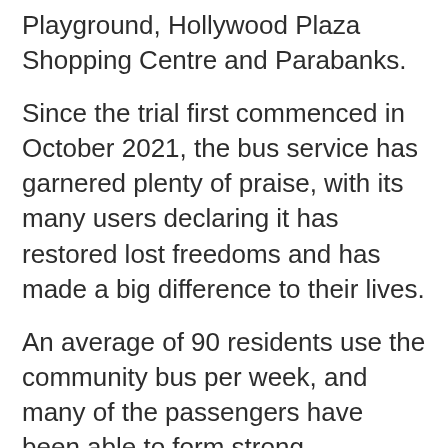Playground, Hollywood Plaza Shopping Centre and Parabanks.
Since the trial first commenced in October 2021, the bus service has garnered plenty of praise, with its many users declaring it has restored lost freedoms and has made a big difference to their lives.
An average of 90 residents use the community bus per week, and many of the passengers have been able to form strong friendships over the course of the trial.
The community bus has been a great success in connecting people to services and shops, allowing for more people to regain their independence.